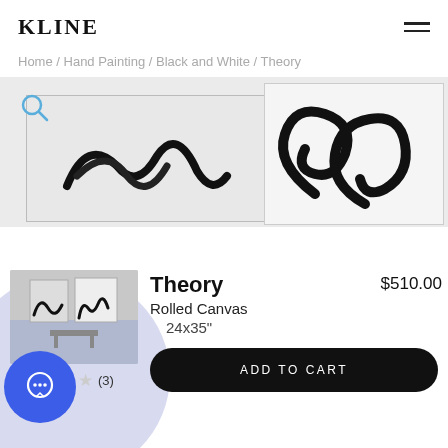KLINE
Home / Hand Painting / Black and White / Theory
[Figure (photo): Product image area showing two abstract black and white hand paintings on a light background with a search magnifier icon overlay]
[Figure (photo): Thumbnail image of Theory painting set displayed in a room setting]
Theory
Rolled Canvas
24x35"
$510.00
ADD TO CART